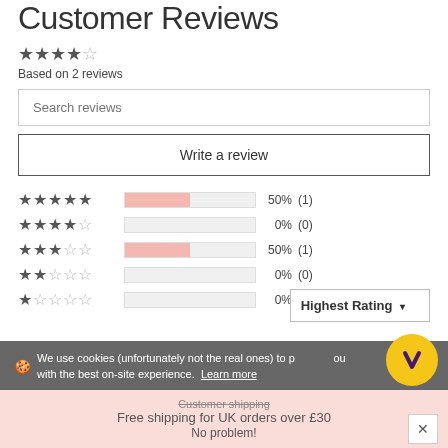Customer Reviews
[Figure (other): 4 filled stars and 1 empty star rating display]
Based on 2 reviews
Search reviews
Write a review
| Stars | Bar | Percent | Count |
| --- | --- | --- | --- |
| 5 stars | 50% | 50% | (1) |
| 4 stars | 0% | 0% | (0) |
| 3 stars | 50% | 50% | (1) |
| 2 stars | 0% | 0% | (0) |
| 1 star | 0% | 0% | (0) |
Highest Rating ▾
🍪 We use cookies (unfortunately not the real ones) to provide you with the best on-site experience. Learn more
Free shipping for UK orders over £30
No problem!